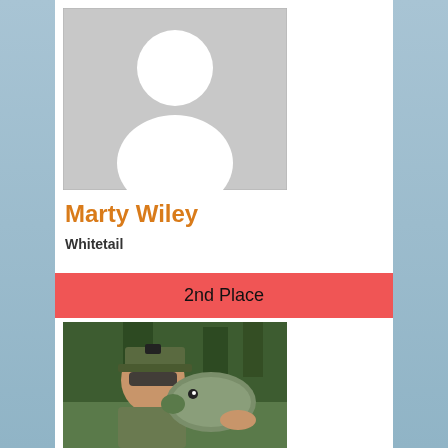[Figure (illustration): Default avatar placeholder image — grey background with white silhouette of a person (head and shoulders)]
Marty Wiley
Whitetail
2nd Place
[Figure (photo): A man wearing sunglasses and a camouflage jacket holding up a large fish (bass), outdoors with trees in background]